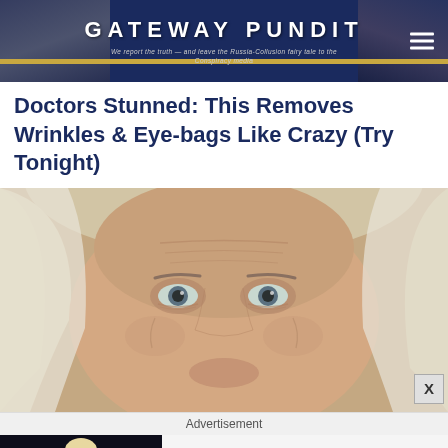GATEWAY PUNDIT — We report the truth — and leave the Russia-Collusion fairy tale to the Conspiracy media
Doctors Stunned: This Removes Wrinkles & Eye-bags Like Crazy (Try Tonight)
[Figure (photo): Close-up photo of an elderly person's face with wrinkles, gray-white hair, showing skin aging]
Advertisement
[Figure (photo): Photo of a man in a dark suit gesturing with hands during what appears to be a debate or public event]
USA President And First Lady Test Positive For Covid-19
Brainberries